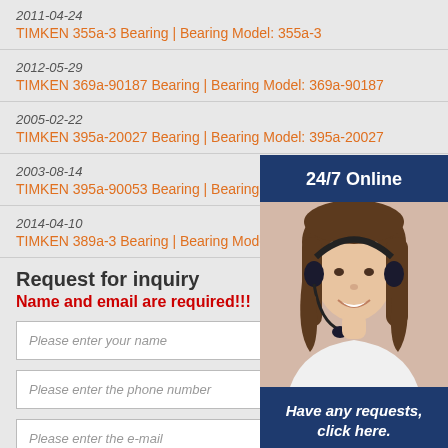2011-04-24
TIMKEN 355a-3 Bearing | Bearing Model: 355a-3
2012-05-29
TIMKEN 369a-90187 Bearing | Bearing Model: 369a-90187
2005-02-22
TIMKEN 395a-20027 Bearing | Bearing Model: 395a-20027
2003-08-14
TIMKEN 395a-90053 Bearing | Bearing Model:
2014-04-10
TIMKEN 389a-3 Bearing | Bearing Model: 389
Request for inquiry
Name and email are required!!!
Please enter your name
Please enter the phone number
Please enter the e-mail
[Figure (photo): Customer service representative with headset, 24/7 Online widget with Have any requests, click here. and Quotation button]